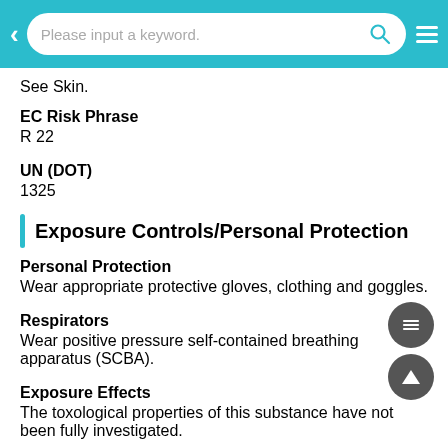Please input a keyword.
See Skin.
EC Risk Phrase
R 22
UN (DOT)
1325
Exposure Controls/Personal Protection
Personal Protection
Wear appropriate protective gloves, clothing and goggles.
Respirators
Wear positive pressure self-contained breathing apparatus (SCBA).
Exposure Effects
The toxological properties of this substance have not been fully investigated.
Poison Class